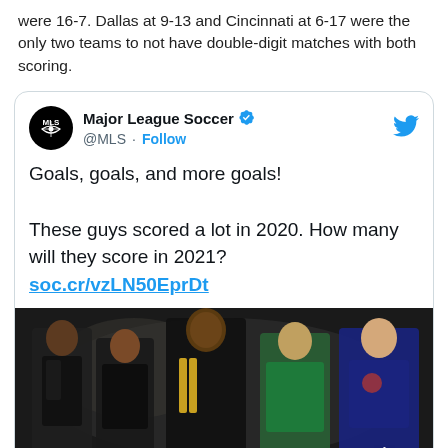were 16-7. Dallas at 9-13 and Cincinnati at 6-17 were the only two teams to not have double-digit matches with both scoring.
[Figure (screenshot): Embedded tweet from @MLS (Major League Soccer) with verified badge. Tweet text: 'Goals, goals, and more goals! These guys scored a lot in 2020. How many will they score in 2021? soc.cr/vzLN50EprDt' with an image of five soccer players in team jerseys posed dramatically.]